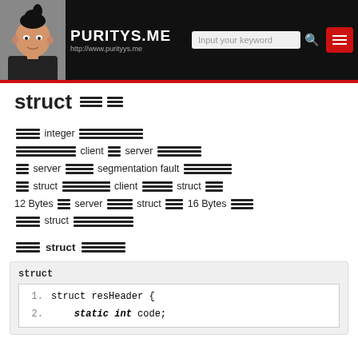PURITYS.ME — http://www.puritys.me
struct [Thai text]
[Thai] integer [Thai] client [Thai] server [Thai] server [Thai] segmentation fault [Thai] struct [Thai] client [Thai] struct [Thai] 12 Bytes [Thai] server [Thai] struct [Thai] 16 Bytes [Thai] struct [Thai]
[Thai] struct [Thai]
| 1. | struct resHeader { |
| 2. |     static int code; |